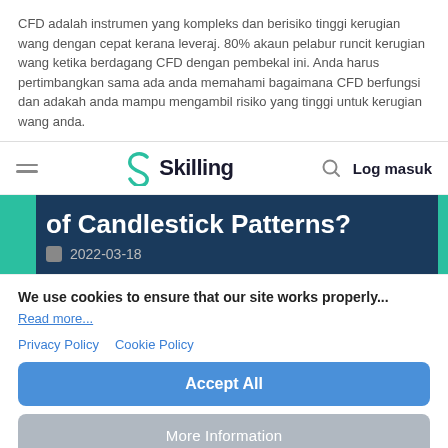CFD adalah instrumen yang kompleks dan berisiko tinggi kerugian wang dengan cepat kerana leveraj. 80% akaun pelabur runcit kerugian wang ketika berdagang CFD dengan pembekal ini. Anda harus pertimbangkan sama ada anda memahami bagaimana CFD berfungsi dan adakah anda mampu mengambil risiko yang tinggi untuk kerugian wang anda.
Skilling | Log masuk
of Candlestick Patterns?
2022-03-18
We use cookies to ensure that our site works properly...
Read more...
Privacy Policy   Cookie Policy
Accept All
More Information
Powered by Usercentrics Consent Management